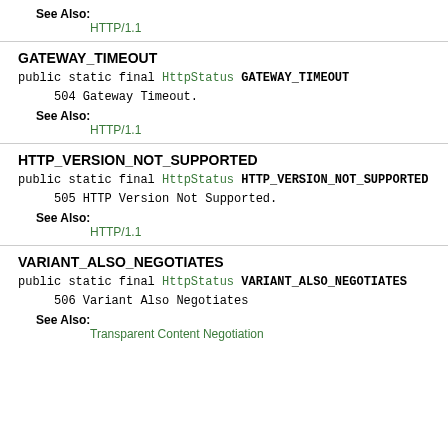See Also: HTTP/1.1
GATEWAY_TIMEOUT
public static final HttpStatus GATEWAY_TIMEOUT
504 Gateway Timeout.
See Also: HTTP/1.1
HTTP_VERSION_NOT_SUPPORTED
public static final HttpStatus HTTP_VERSION_NOT_SUPPORTED
505 HTTP Version Not Supported.
See Also: HTTP/1.1
VARIANT_ALSO_NEGOTIATES
public static final HttpStatus VARIANT_ALSO_NEGOTIATES
506 Variant Also Negotiates
See Also: Transparent Content Negotiation